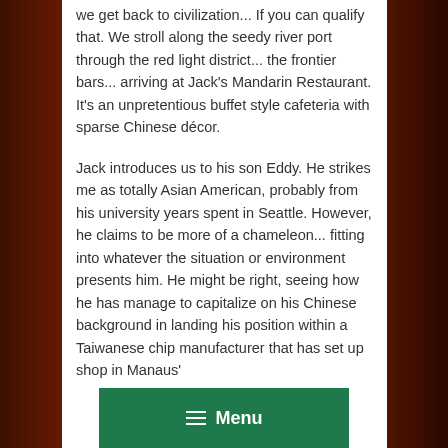we get back to civilization... If you can qualify that. We stroll along the seedy river port through the red light district... the frontier bars... arriving at Jack's Mandarin Restaurant. It's an unpretentious buffet style cafeteria with sparse Chinese décor.
Jack introduces us to his son Eddy. He strikes me as totally Asian American, probably from his university years spent in Seattle. However, he claims to be more of a chameleon... fitting into whatever the situation or environment presents him. He might be right, seeing how he has manage to capitalize on his Chinese background in landing his position within a Taiwanese chip manufacturer that has set up shop in Manaus'